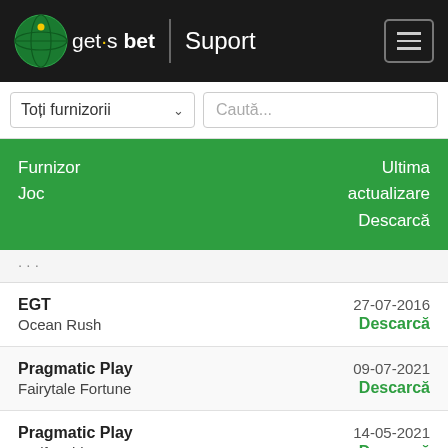get's bet | Suport
Toți furnizorii
Caută...
| Furnizor
Joc | Ultima actualizare
Descarcă |
| --- | --- |
| EGT
Ocean Rush | 27-07-2016
Descarcă |
| Pragmatic Play
Fairytale Fortune | 09-07-2021
Descarcă |
| Pragmatic Play
Wolf Gold | 14-05-2021
Descarcă |
| EGT | 17-11-2020 |